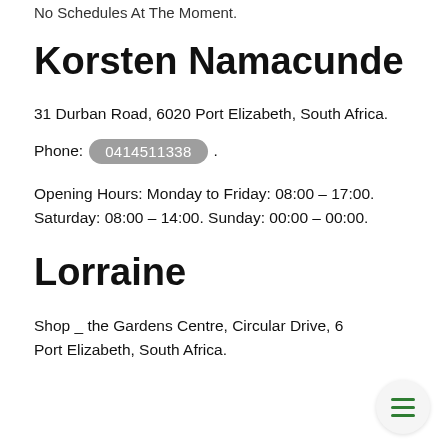No Schedules At The Moment.
Korsten Namacunde
31 Durban Road, 6020 Port Elizabeth, South Africa.
Phone: 0414511338.
Opening Hours: Monday to Friday: 08:00 – 17:00. Saturday: 08:00 – 14:00. Sunday: 00:00 – 00:00.
Lorraine
Shop _ the Gardens Centre, Circular Drive, 6 Port Elizabeth, South Africa.